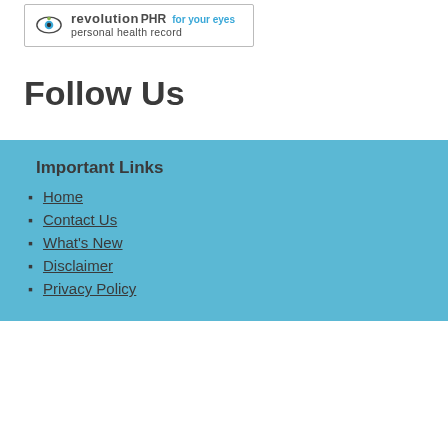[Figure (logo): RevolutionPHR logo with eye icon, tagline 'for your eyes', and subtitle 'personal health record']
Follow Us
Important Links
Home
Contact Us
What's New
Disclaimer
Privacy Policy